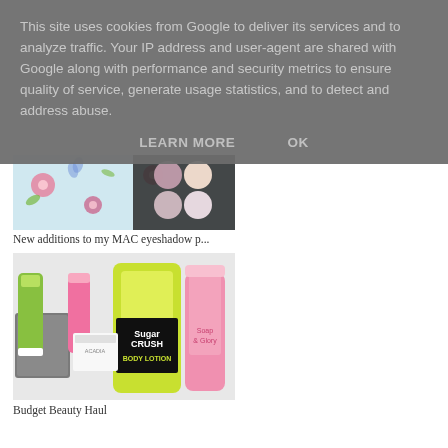This site uses cookies from Google to deliver its services and to analyze traffic. Your IP address and user-agent are shared with Google along with performance and security metrics to ensure quality of service, generate usage statistics, and to detect and address abuse.
LEARN MORE    OK
[Figure (photo): Photo of a floral patterned surface with a MAC eyeshadow palette]
New additions to my MAC eyeshadow p...
[Figure (photo): Photo of budget beauty products including Soap & Glory Sugar Crush Body Lotion and other skincare items]
Budget Beauty Haul